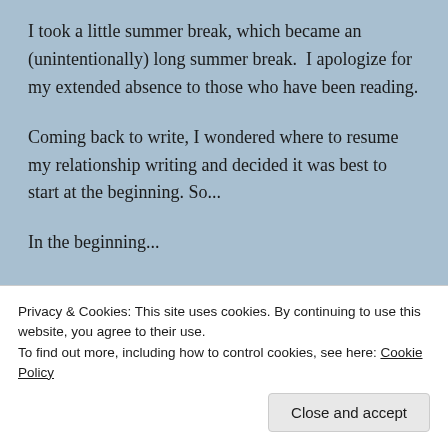I took a little summer break, which became an (unintentionally) long summer break.  I apologize for my extended absence to those who have been reading.
Coming back to write, I wondered where to resume my relationship writing and decided it was best to start at the beginning. So...
In the beginning...
Privacy & Cookies: This site uses cookies. By continuing to use this website, you agree to their use.
To find out more, including how to control cookies, see here: Cookie Policy
Close and accept